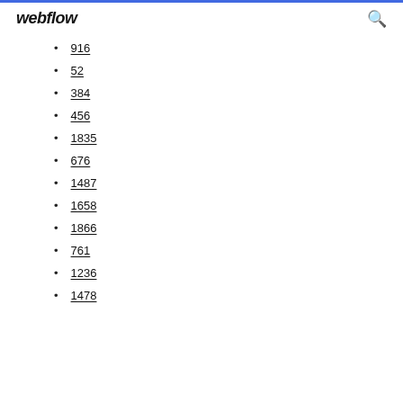webflow
916
52
384
456
1835
676
1487
1658
1866
761
1236
1478